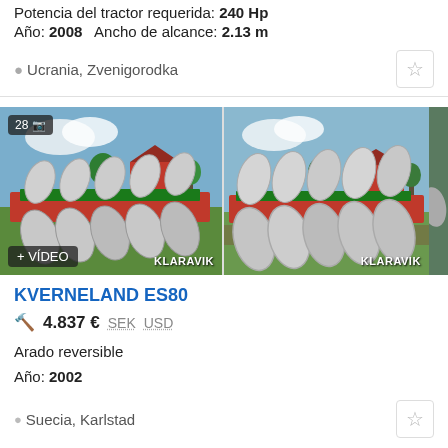Potencia del tractor requerida: 240 Hp
Año: 2008   Ancho de alcance: 2.13 m
Ucrania, Zvenigorodka
[Figure (photo): Two side-by-side photos of a Kverneland ES80 reversible plough with red and green frame and multiple shiny blades, on green grass with farm buildings in background. Left image shows '28' photo count badge and '+VIDEO' badge and 'KLARAVIK' watermark. Right image shows 'KLARAVIK' watermark. Third image partially visible on right edge.]
KVERNELAND ES80
4.837 €  SEK  USD
Arado reversible
Año: 2002
Suecia, Karlstad